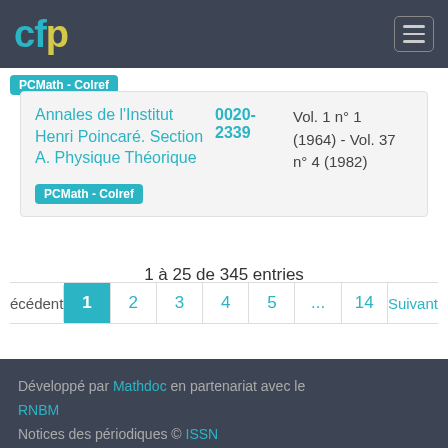cfp
PCMath - Colref
| Title | ISSN | Volumes |
| --- | --- | --- |
| Annales de l'Institut Henri Poincaré. Section A. Physique Théorique | 0020-2339 | Vol. 1 n° 1 (1964) - Vol. 37 n° 4 (1982) |
PCMath - Colref
1 à 25 de 345 entries
écédent  1  2  3  4  5  ...  14  Suivant
Développé par Mathdoc en partenariat avec le RNBM
Notices des périodiques © ISSN
Contact